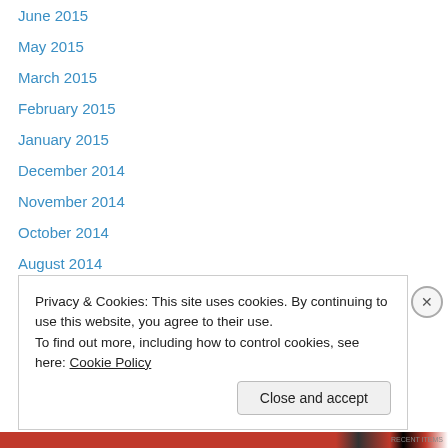June 2015
May 2015
March 2015
February 2015
January 2015
December 2014
November 2014
October 2014
August 2014
May 2014
February 2014
December 2013
November 2013
Privacy & Cookies: This site uses cookies. By continuing to use this website, you agree to their use.
To find out more, including how to control cookies, see here: Cookie Policy
Close and accept